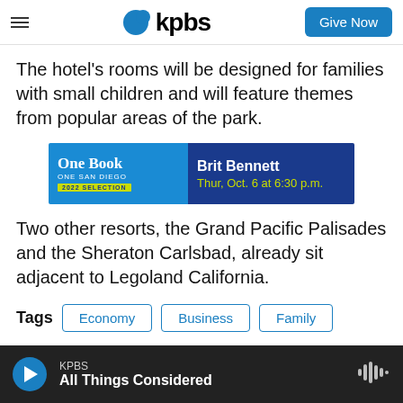KPBS — Give Now
The hotel's rooms will be designed for families with small children and will feature themes from popular areas of the park.
[Figure (infographic): Advertisement banner for One Book One San Diego 2022 Selection featuring Brit Bennett, Thur, Oct. 6 at 6:30 p.m.]
Two other resorts, the Grand Pacific Palisades and the Sheraton Carlsbad, already sit adjacent to Legoland California.
Tags  Economy  Business  Family
KPBS — All Things Considered